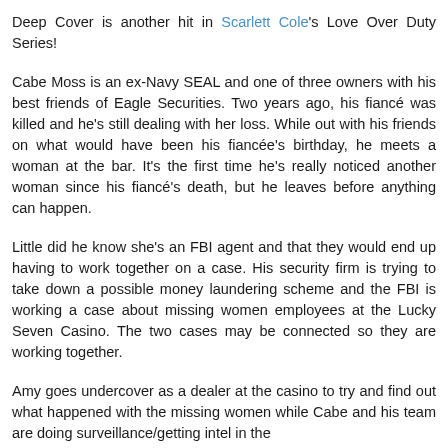Deep Cover is another hit in Scarlett Cole's Love Over Duty Series!
Cabe Moss is an ex-Navy SEAL and one of three owners with his best friends of Eagle Securities. Two years ago, his fiancé was killed and he's still dealing with her loss. While out with his friends on what would have been his fiancée's birthday, he meets a woman at the bar. It's the first time he's really noticed another woman since his fiancé's death, but he leaves before anything can happen.
Little did he know she's an FBI agent and that they would end up having to work together on a case. His security firm is trying to take down a possible money laundering scheme and the FBI is working a case about missing women employees at the Lucky Seven Casino. The two cases may be connected so they are working together.
Amy goes undercover as a dealer at the casino to try and find out what happened with the missing women while Cabe and his team are doing surveillance/getting intel in the